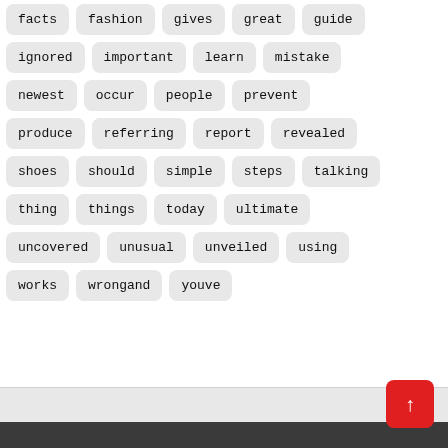facts
fashion
gives
great
guide
ignored
important
learn
mistake
newest
occur
people
prevent
produce
referring
report
revealed
shoes
should
simple
steps
talking
thing
things
today
ultimate
uncovered
unusual
unveiled
using
works
wrongand
youve
↑